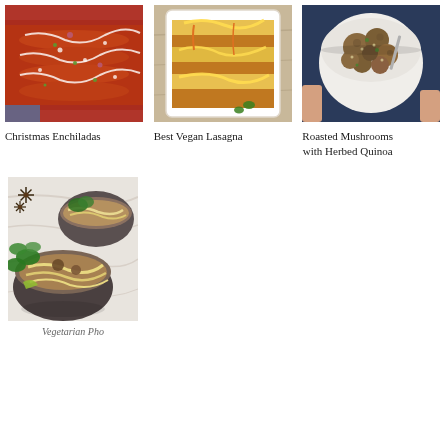[Figure (photo): Overhead photo of Christmas Enchiladas in red sauce with white cheese and green herbs in a baking dish]
Christmas Enchiladas
[Figure (photo): Overhead photo of Best Vegan Lasagna in white baking dish with yellow and orange layers]
Best Vegan Lasagna
[Figure (photo): Overhead photo of Roasted Mushrooms with Herbed Quinoa in white bowl held by hands]
Roasted Mushrooms with Herbed Quinoa
[Figure (photo): Photo of two bowls of Vegetarian Pho with noodles and fresh herbs on marble surface with star anise]
Vegetarian Pho